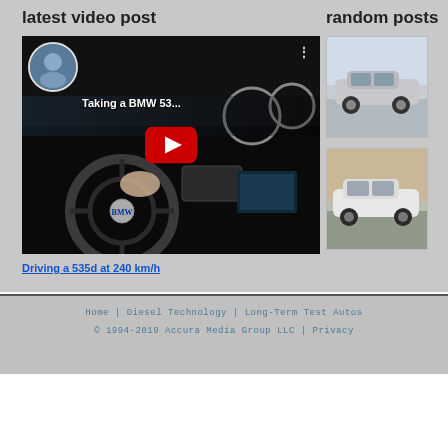latest video post
random posts
[Figure (screenshot): YouTube video thumbnail showing a BMW 535d interior with steering wheel and hand, title 'Taking a BMW 53...' with red play button overlay and circular person thumbnail in top-left]
Driving a 535d at 240 km/h
[Figure (photo): Silver Toyota C-HR crossover SUV in a parking lot]
[Figure (photo): White Chevrolet Bolt EV parked near a building]
Home | Diesel Technology | Long-Term Test Autos
© 1994-2019 Accura Media Group LLC | Privacy